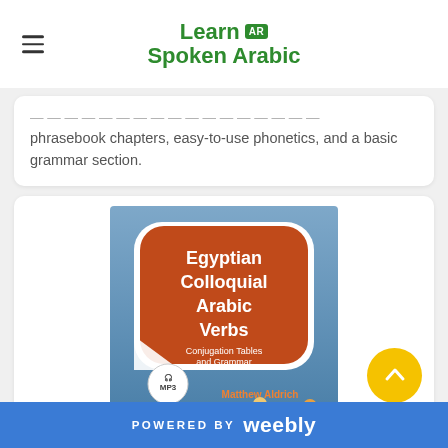Learn AR Spoken Arabic
phrasebook chapters, easy-to-use phonetics, and a basic grammar section.
[Figure (illustration): Book cover for 'Egyptian Colloquial Arabic Verbs: Conjugation Tables and Grammar' by Matthew Aldrich, with MP3 audio icon and illustrated characters]
POWERED BY weebly